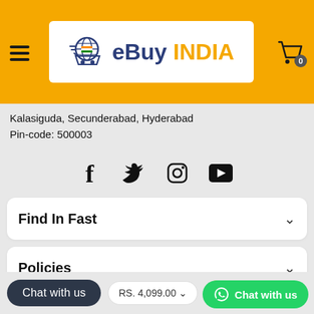[Figure (logo): eBuy INDIA logo with shopping cart globe icon on orange header bar]
Kalasiguda, Secunderabad, Hyderabad
Pin-code: 500003
[Figure (infographic): Social media icons: Facebook, Twitter, Instagram, YouTube]
Find In Fast
Policies
Chat with us
RS. 4,099.00
Add to
Chat with us